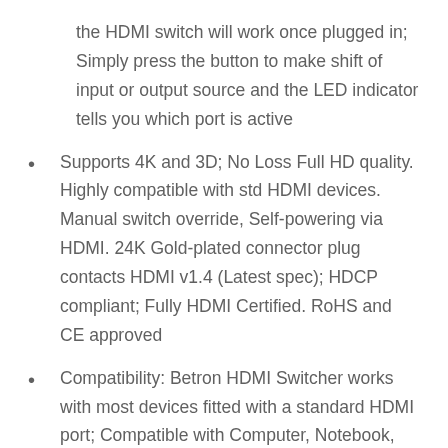the HDMI switch will work once plugged in; Simply press the button to make shift of input or output source and the LED indicator tells you which port is active
Supports 4K and 3D; No Loss Full HD quality. Highly compatible with std HDMI devices. Manual switch override, Self-powering via HDMI. 24K Gold-plated connector plug contacts HDMI v1.4 (Latest spec); HDCP compliant; Fully HDMI Certified. RoHS and CE approved
Compatibility: Betron HDMI Switcher works with most devices fitted with a standard HDMI port; Compatible with Computer, Notebook, XBox 360, XBox One, PS3 ,PS4, Apple TV, ROKU, Blu-Ray DVD,HD-Ready or HDTV, DVB receivers, Monitors, Projectors etc
3 In 1 Out HDMI Splitter; Betron HDMI switch could connect 3 HDMI sources to 1 HDMI displays enables